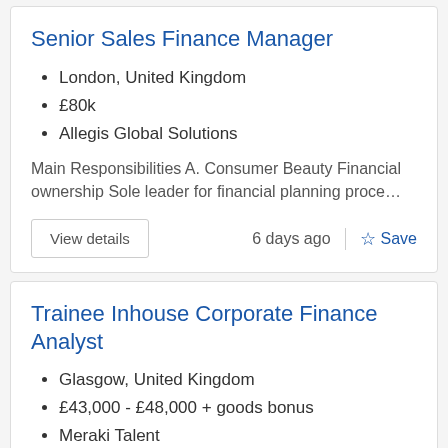Senior Sales Finance Manager
London, United Kingdom
£80k
Allegis Global Solutions
Main Responsibilities A. Consumer Beauty Financial ownership Sole leader for financial planning proce…
View details
6 days ago
Save
Trainee Inhouse Corporate Finance Analyst
Glasgow, United Kingdom
£43,000 - £48,000 + goods bonus
Meraki Talent
Meraki Talent are exclusively engaged on the